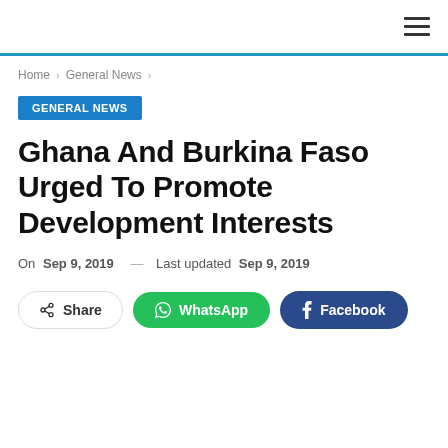Navigation header with hamburger menu
Home > General News >
GENERAL NEWS
Ghana And Burkina Faso Urged To Promote Development Interests
On Sep 9, 2019 — Last updated Sep 9, 2019
Share | WhatsApp | Facebook